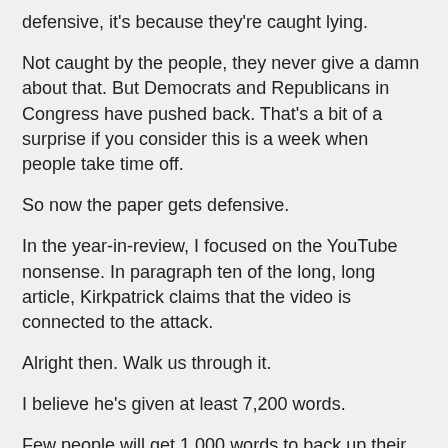defensive, it's because they're caught lying.
Not caught by the people, they never give a damn about that.  But Democrats and Republicans in Congress have pushed back.  That's a bit of a surprise if you consider this is a week when people take time off.
So now the paper gets defensive.
In the year-in-review, I focused on the YouTube nonsense.  In paragraph ten of the long, long article, Kirkpatrick claims that the video is connected to the attack.
Alright then.  Walk us through it.
I believe he's given at least 7,200 words.
Few people will get 1,000 words to back up their point.